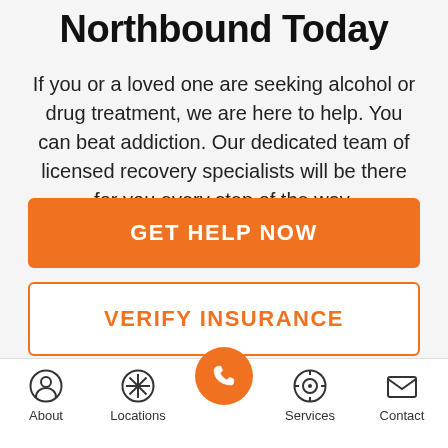Northbound Today
If you or a loved one are seeking alcohol or drug treatment, we are here to help. You can beat addiction. Our dedicated team of licensed recovery specialists will be there for you every step of the way.
GET HELP NOW
VERIFY INSURANCE
About  Locations  [phone]  Services  Contact